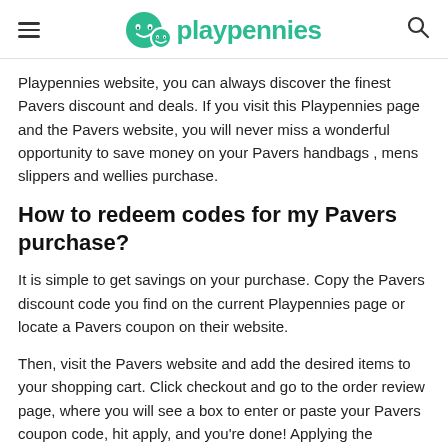playpennies
Playpennies website, you can always discover the finest Pavers discount and deals. If you visit this Playpennies page and the Pavers website, you will never miss a wonderful opportunity to save money on your Pavers handbags , mens slippers and wellies purchase.
How to redeem codes for my Pavers purchase?
It is simple to get savings on your purchase. Copy the Pavers discount code you find on the current Playpennies page or locate a Pavers coupon on their website.
Then, visit the Pavers website and add the desired items to your shopping cart. Click checkout and go to the order review page, where you will see a box to enter or paste your Pavers coupon code, hit apply, and you're done! Applying the